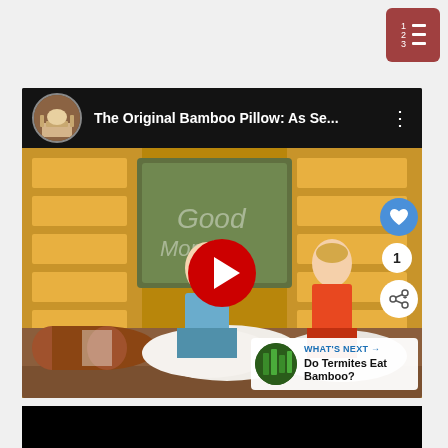[Figure (screenshot): Menu/list icon button in reddish-brown color with numbered lines, top-right corner]
[Figure (screenshot): YouTube video embed showing 'The Original Bamboo Pillow: As Se...' with two TV show hosts seated at a desk with bamboo pillows on display. A red YouTube play button is centered on the video. Social interaction buttons (heart/like, share) are visible on the right side. A 'WHAT'S NEXT: Do Termites Eat Bamboo?' overlay appears in the bottom right. A black bar appears at the bottom of the frame.]